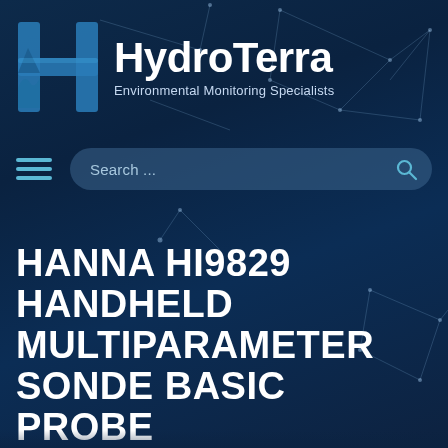[Figure (logo): HydroTerra logo — stylized blue letter H with mountain/wave motif, white bold 'HydroTerra' text, subtitle 'Environmental Monitoring Specialists' on dark navy background with geometric network lines]
HydroTerra
Environmental Monitoring Specialists
Search ...
HANNA HI9829 HANDHELD MULTIPARAMETER SONDE BASIC PROBE